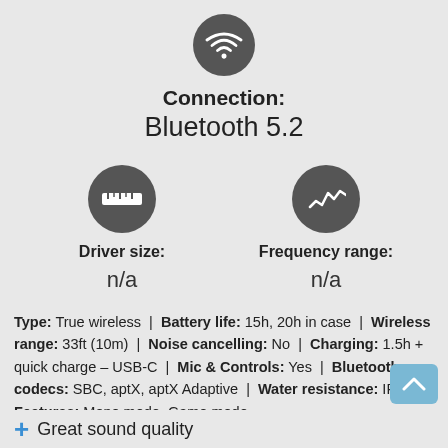[Figure (infographic): WiFi/Bluetooth icon in dark circle at top center]
Connection:
Bluetooth 5.2
[Figure (infographic): Ruler/driver size icon in dark circle on left]
[Figure (infographic): Frequency/audio wave icon in dark circle on right]
Driver size:
n/a
Frequency range:
n/a
Type: True wireless | Battery life: 15h, 20h in case | Wireless range: 33ft (10m) | Noise cancelling: No | Charging: 1.5h + quick charge – USB-C | Mic & Controls: Yes | Bluetooth codecs: SBC, aptX, aptX Adaptive | Water resistance: IPX5 | Features: Mono mode, Game mode
Great sound quality